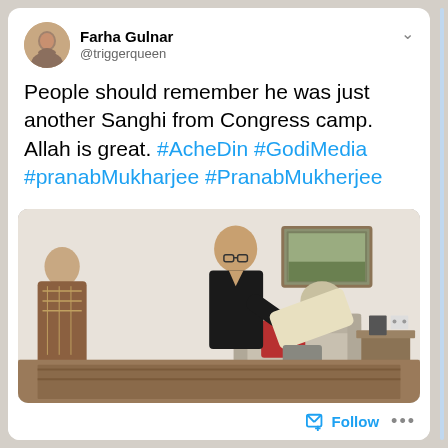Farha Gulnar @triggerqueen
People should remember he was just another Sanghi from Congress camp. Allah is great. #AcheDin #GodiMedia #pranabMukharjee #PranabMukherjee
[Figure (photo): Photo of two people in an indoor setting, one bowing towards the other who is standing and wearing black, with a sofa and painting visible in the background.]
Follow ...